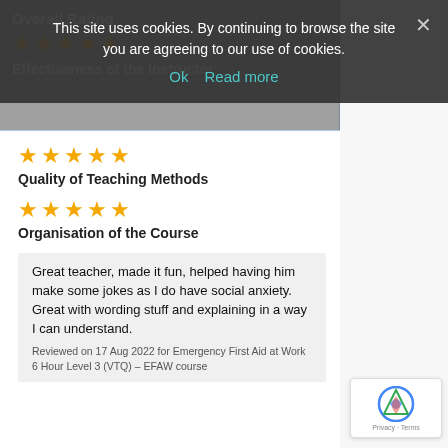This site uses cookies. By continuing to browse the site you are agreeing to our use of cookies.
Ok   Read more
Overall Rating
[Figure (other): 5 orange stars rating for Overall Rating]
Effectiveness of the Instructor
[Figure (other): 5 orange stars rating for Quality of Teaching Methods]
Quality of Teaching Methods
[Figure (other): 5 orange stars rating for Organisation of the Course]
Organisation of the Course
Great teacher, made it fun, helped having him make some jokes as I do have social anxiety. Great with wording stuff and explaining in a way I can understand.
Reviewed on 17 Aug 2022 for Emergency First Aid at Work 6 Hour Level 3 (VTQ) – EFAW course